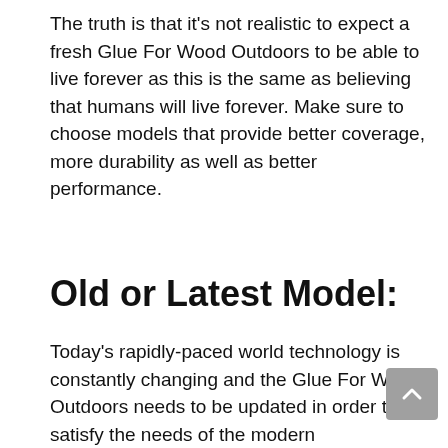The truth is that it's not realistic to expect a fresh Glue For Wood Outdoors to be able to live forever as this is the same as believing that humans will live forever. Make sure to choose models that provide better coverage, more durability as well as better performance.
Old or Latest Model:
Today's rapidly-paced world technology is constantly changing and the Glue For Wood Outdoors needs to be updated in order to satisfy the needs of the modern